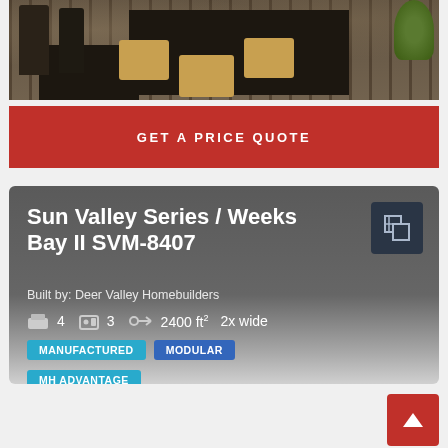[Figure (photo): Interior dining room photo showing dark wood tables, chairs, wicker placemats, and stone wall background with plants]
GET A PRICE QUOTE
Sun Valley Series / Weeks Bay II SVM-8407
Built by: Deer Valley Homebuilders
4   3   2400 ft²   2x wide
MANUFACTURED
MODULAR
MH ADVANTAGE